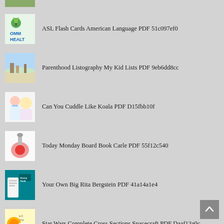[Figure (other): Partial thumbnail at top of page, green/nature image cropped]
ASL Flash Cards American Language PDF 51c097ef0
Parenthood Listography My Kid Lists PDF 9eb6dd8cc
Can You Cuddle Like Koala PDF D15fbb10f
Today Monday Board Book Carle PDF 55f12c540
Your Own Big Rita Bergstein PDF 41a14a1e4
Star Wars Complete Cross Sections Spacecraft PDF Daaf13a0c